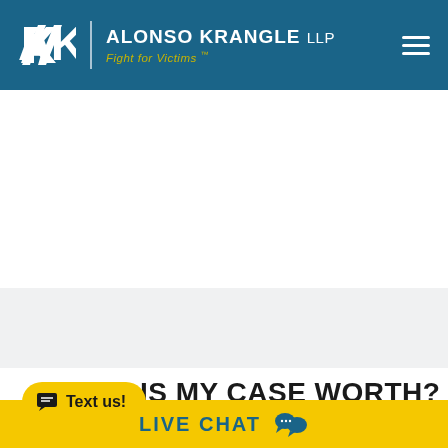[Figure (logo): Alonso Krangle LLP law firm header with AK logo, firm name, tagline 'Fight for Victims™', and hamburger menu icon on blue background]
IS MY CASE WORTH?
LIVE CHAT
Text us!